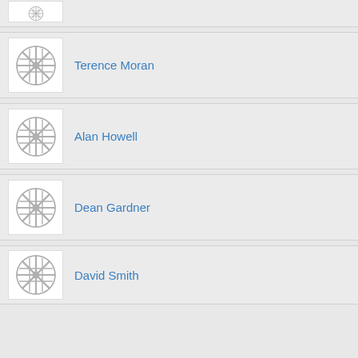[Figure (illustration): Partial profile card at top with placeholder avatar icon (circular gear/web pattern in gray)]
[Figure (illustration): Profile card for Terence Moran with placeholder avatar icon]
Terence Moran
[Figure (illustration): Profile card for Alan Howell with placeholder avatar icon]
Alan Howell
[Figure (illustration): Profile card for Dean Gardner with placeholder avatar icon]
Dean Gardner
[Figure (illustration): Profile card for David Smith with placeholder avatar icon (partially visible at bottom)]
David Smith